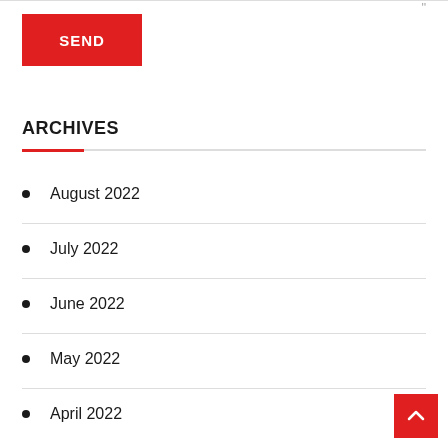[Figure (other): Red SEND button]
ARCHIVES
August 2022
July 2022
June 2022
May 2022
April 2022